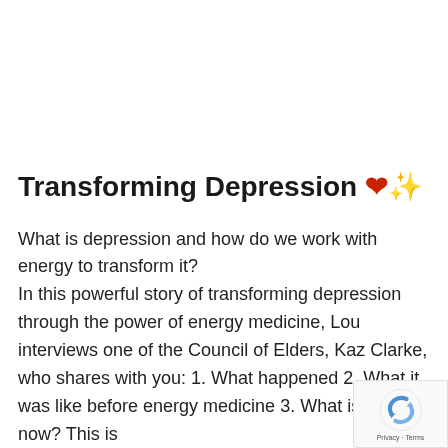Transforming Depression ❤️✨
What is depression and how do we work with energy to transform it? In this powerful story of transforming depression through the power of energy medicine, Lou interviews one of the Council of Elders, Kaz Clarke, who shares with you: 1. What happened 2. What it was like before energy medicine 3. What is it like now? This is
[Figure (logo): Google reCAPTCHA badge in bottom right corner showing recycling-arrow logo and 'Privacy - Terms' text]